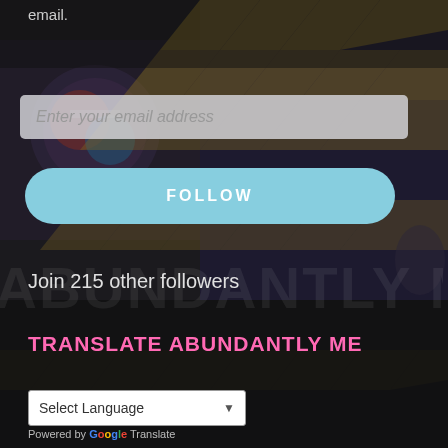email.
Enter your email address
FOLLOW
Join 215 other followers
TRANSLATE ABUNDANTLY ME
Select Language
Powered by Google Translate
FOLLOW ME ON TWITTER
My Tweets